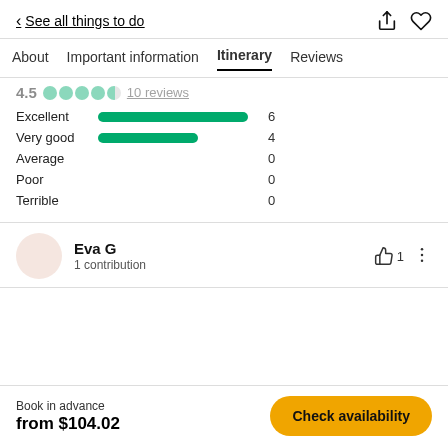< See all things to do
About | Important information | Itinerary | Reviews
4.5 ●●●●● 10 reviews
[Figure (bar-chart): Review Rating Distribution]
Eva G
1 contribution
Book in advance
from $104.02